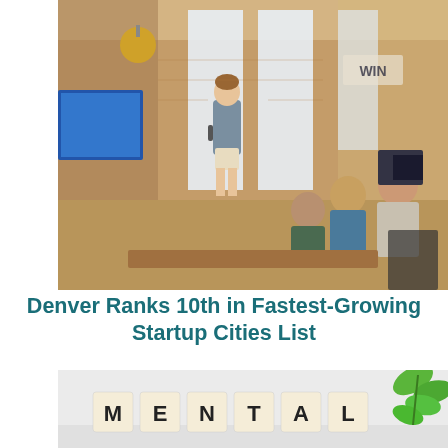[Figure (photo): A man giving a presentation in a modern co-working space with brick walls. Several people are seated watching him. There is a large monitor behind him showing a blue screen. The space has industrial lighting and a 'WIN' sign on the wall.]
Denver Ranks 10th in Fastest-Growing Startup Cities List
[Figure (photo): Scrabble tiles spelling out the word 'MENTAL' on a light surface, with a green leafy plant branch in the upper right corner.]